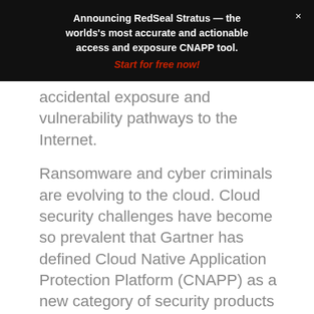Announcing RedSeal Stratus — the worlds's most accurate and actionable access and exposure CNAPP tool. Start for free now!
accidental exposure and vulnerability pathways to the Internet.
Ransomware and cyber criminals are evolving to the cloud. Cloud security challenges have become so prevalent that Gartner has defined Cloud Native Application Protection Platform (CNAPP) as a new category of security products designed to identify misconfiguration issues and risks in the cloud. Cloud Security Posture